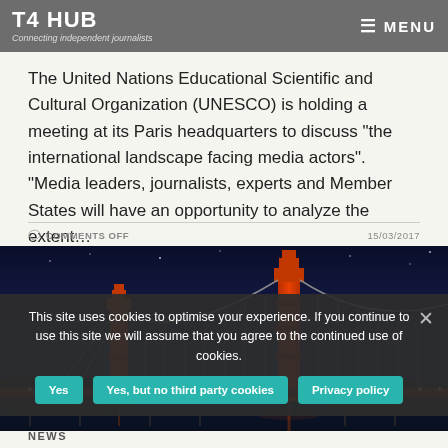T4 HUB | Connecting independent journalists | MENU
The United Nations Educational Scientific and Cultural Organization (UNESCO) is holding a meeting at its Paris headquarters to discuss “the international landscape facing media actors”. “Media leaders, journalists, experts and Member States will have an opportunity to analyze the extent…
COMMENTS OFF | 15/03/2017
[Figure (photo): Night photograph of the Golden Gate Bridge illuminated in orange/red lights against a dark blue night sky, with lights reflecting on the water below.]
This site uses cookies to optimise your experience. If you continue to use this site we will assume that you agree to the continued use of cookies.
Yes | Yes, but no third party cookies | Privacy policy
NEWS